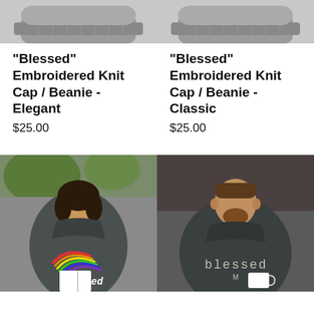[Figure (photo): Top portion of a gray knit beanie hat, left product]
[Figure (photo): Top portion of a gray knit beanie hat, right product]
"Blessed" Embroidered Knit Cap / Beanie - Elegant
$25.00
"Blessed" Embroidered Knit Cap / Beanie - Classic
$25.00
[Figure (photo): Woman wearing a dark gray hoodie with a rainbow and 'Blessed' print, sitting outdoors reading a book]
[Figure (photo): Man wearing a dark gray hoodie with 'blessed' text print, holding a white mug]